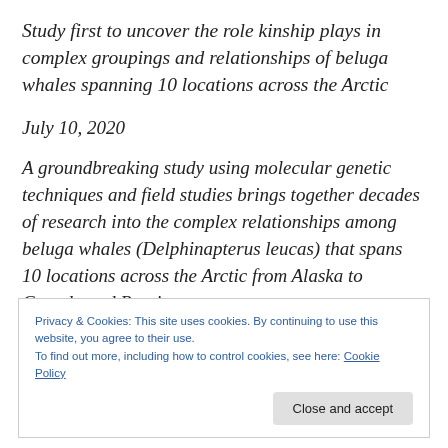Study first to uncover the role kinship plays in complex groupings and relationships of beluga whales spanning 10 locations across the Arctic
July 10, 2020
A groundbreaking study using molecular genetic techniques and field studies brings together decades of research into the complex relationships among beluga whales (Delphinapterus leucas) that spans 10 locations across the Arctic from Alaska to Canada and Russia to
Privacy & Cookies: This site uses cookies. By continuing to use this website, you agree to their use.
To find out more, including how to control cookies, see here: Cookie Policy